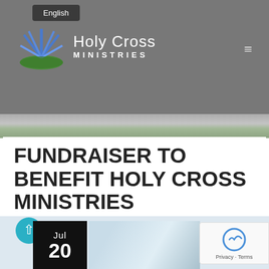English  Holy Cross MINISTRIES
FUNDRAISER TO BENEFIT HOLY CROSS MINISTRIES
The Autumn Harvest Benefit is Holy Cross Ministries' only fundraising event for its health outreach, early childhood education and legal services that are provided to low-income families in Summit County.
Read Full Article >>
[Figure (screenshot): Bottom strip with scroll-up button, July date badge, photo preview, and reCAPTCHA widget]